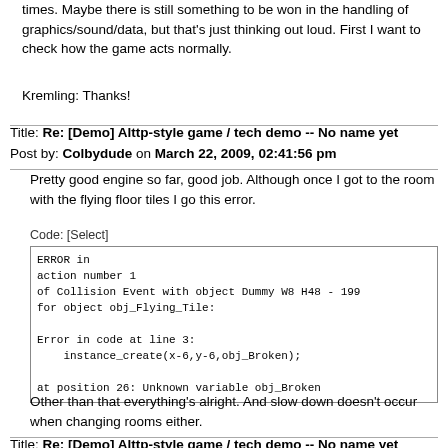times. Maybe there is still something to be won in the handling of graphics/sound/data, but that's just thinking out loud. First I want to check how the game acts normally.
Kremling: Thanks!
Title: Re: [Demo] Alttp-style game / tech demo -- No name yet
Post by: Colbydude on March 22, 2009, 02:41:56 pm
Pretty good engine so far, good job. Although once I got to the room with the flying floor tiles I go this error.
Code: [Select]
ERROR in
action number 1
of Collision Event with object Dummy W8 H48 - 199
for object obj_Flying_Tile:

Error in code at line 3:
    instance_create(x-6,y-6,obj_Broken);

at position 26: Unknown variable obj_Broken
Other than that everything's alright. And slow down doesn't occur when changing rooms either.
Title: Re: [Demo] Alttp-style game / tech demo -- No name yet
Post by: Martijn dh on March 22, 2009, 02:54:13 pm